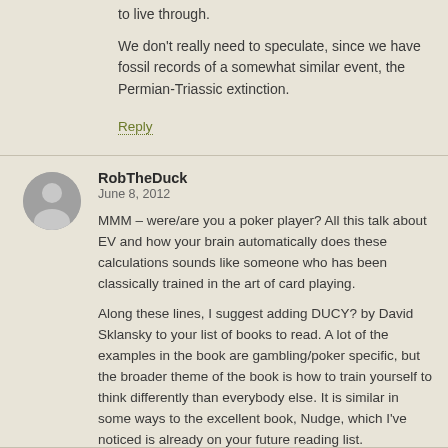to live through.
We don’t really need to speculate, since we have fossil records of a somewhat similar event, the Permian-Triassic extinction.
Reply
RobTheDuck
June 8, 2012
MMM – were/are you a poker player? All this talk about EV and how your brain automatically does these calculations sounds like someone who has been classically trained in the art of card playing.
Along these lines, I suggest adding DUCY? by David Sklansky to your list of books to read. A lot of the examples in the book are gambling/poker specific, but the broader theme of the book is how to train yourself to think differently than everybody else. It is similar in some ways to the excellent book, Nudge, which I’ve noticed is already on your future reading list.
Reply